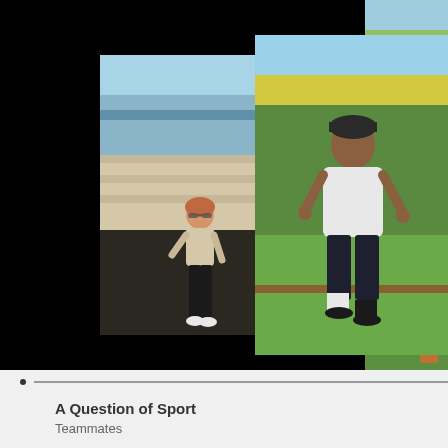[Figure (photo): Collage of four photos showing people exercising outdoors in gardens. Left: woman in sunglasses, beige top and black trousers standing in garden. Center: man in white t-shirt and dark shorts skipping/jumping in garden. Top right: man in dark t-shirt and shorts jumping with skipping rope in garden. Bottom right: garden scene with BBC One logo overlay.]
•
A Question of Sport
Teammates